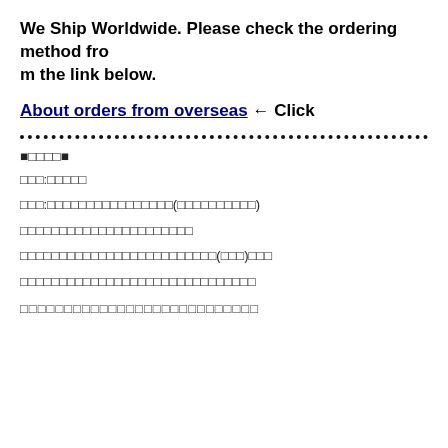We Ship Worldwide. Please check the ordering method from the link below.
About orders from overseas ← Click
■□□□□■
□□□:□□□□□
□□□:□□□□□□□□□□□□□□□□(□□□□□□□□□□)
□□□□□□□□□□□□□□□□□□□□□□
□□□□□□□□□□□□□□□□□□□□□□□□□(□□□)□□□
□□□□□□□□□□□□□□□□□□□□□□□□□□□□□□
□□□□□□□□□□□□□□□□□□□□□□□□□□□